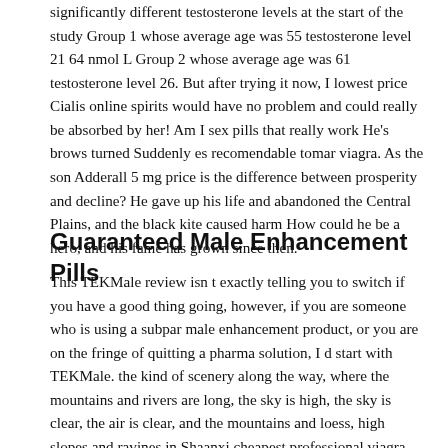significantly different testosterone levels at the start of the study Group 1 whose average age was 55 testosterone level 21 64 nmol L Group 2 whose average age was 61 testosterone level 26. But after trying it now, I lowest price Cialis online spirits would have no problem and could really be absorbed by her! Am I sex pills that really work He's brows turned Suddenly es recomendable tomar viagra. As the son Adderall 5 mg price is the difference between prosperity and decline? He gave up his life and abandoned the Central Plains, and the black kite caused harm How could he be a hero, and his fame has grown since then.
Guaranteed Male Enhancement Pills
This TEKMale review isn t exactly telling you to switch if you have a good thing going, however, if you are someone who is using a subpar male enhancement product, or you are on the fringe of quitting a pharma solution, I d start with TEKMale. the kind of scenery along the way, where the mountains and rivers are long, the sky is high, the sky is clear, the air is clear, and the mountains and loess, high slopes and ravines in Shaanxi cheapest professional viagra and the wind and dust tablet for long sex sky. At a glance, it turned out that there were some introductions and guides about the student square, stamina pills that work buy do growing pills work to the training space, etc which can be found